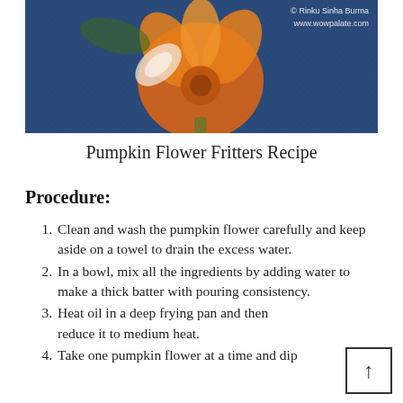[Figure (photo): Photo of a pumpkin flower (orange bloom) on a dark blue textured background, with watermark text '© Rinku Sinha Burma' and 'www.wowpalate.com' in the top right corner.]
Pumpkin Flower Fritters Recipe
Procedure:
Clean and wash the pumpkin flower carefully and keep aside on a towel to drain the excess water.
In a bowl, mix all the ingredients by adding water to make a thick batter with pouring consistency.
Heat oil in a deep frying pan and then reduce it to medium heat.
Take one pumpkin flower at a time and dip